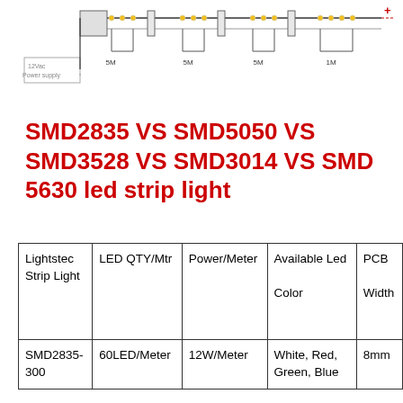[Figure (schematic): Wiring diagram showing LED strip light connection with 12Vac Power supply, connectors and multiple 5M segments followed by a 1M segment, with + terminal at right end]
SMD2835 VS SMD5050 VS SMD3528 VS SMD3014 VS SMD 5630 led strip light
| Lightstec Strip Light | LED QTY/Mtr | Power/Meter | Available Led Color | PCB Width |
| --- | --- | --- | --- | --- |
| SMD2835-300 | 60LED/Meter | 12W/Meter | White, Red, Green, Blue | 8mm |